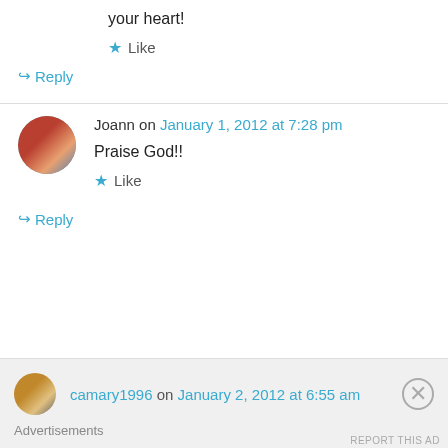your heart!
★ Like
↪ Reply
Joann on January 1, 2012 at 7:28 pm
Praise God!!
★ Like
↪ Reply
camary1996 on January 2, 2012 at 6:55 am
Advertisements